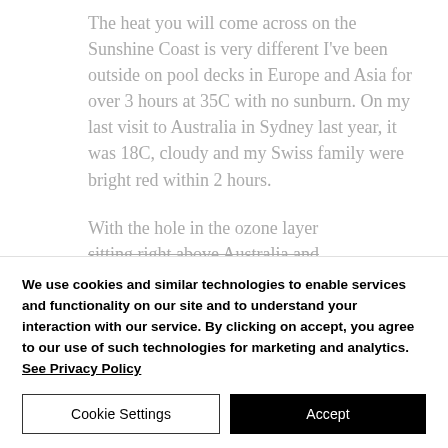The heat you will come across on the Sunshine Coast is very different I've been outside on pool decks in Europe and Asia for over 3 hours at 35C with no sunburn. On my last visit to Australia in Sydney last year, it was 18C, cloudy and my Swiss family were bright red within 2 hours.
With the hole in the ozone layer sitting right above Australia and
We use cookies and similar technologies to enable services and functionality on our site and to understand your interaction with our service. By clicking on accept, you agree to our use of such technologies for marketing and analytics. See Privacy Policy